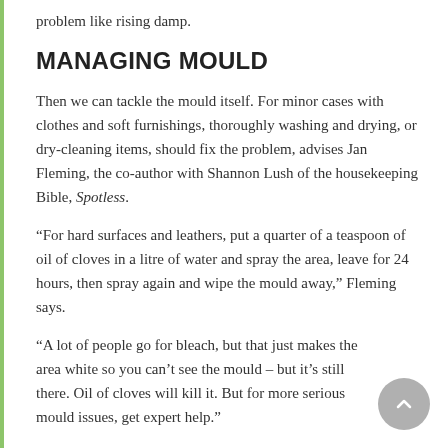problem like rising damp.
MANAGING MOULD
Then we can tackle the mould itself. For minor cases with clothes and soft furnishings, thoroughly washing and drying, or dry-cleaning items, should fix the problem, advises Jan Fleming, the co-author with Shannon Lush of the housekeeping Bible, Spotless.
“For hard surfaces and leathers, put a quarter of a teaspoon of oil of cloves in a litre of water and spray the area, leave for 24 hours, then spray again and wipe the mould away,” Fleming says.
“A lot of people go for bleach, but that just makes the area white so you can’t see the mould – but it’s still there. Oil of cloves will kill it. But for more serious mould issues, get expert help.”